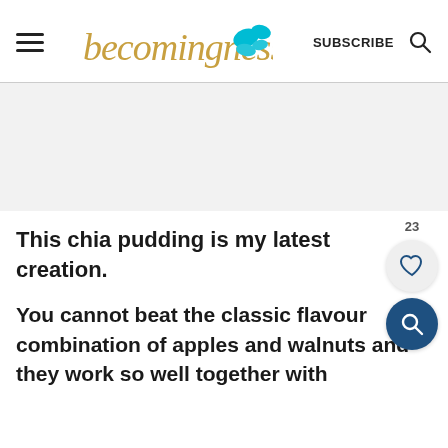becomingness SUBSCRIBE
[Figure (other): Advertisement/blank gray area placeholder]
This chia pudding is my latest creation.
You cannot beat the classic flavour combination of apples and walnuts and they work so well together with